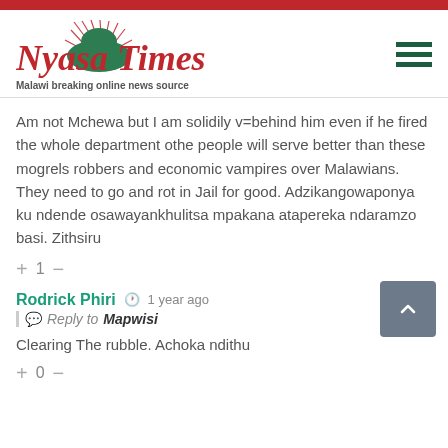Nyasa Times — Malawi breaking online news source
Am not Mchewa but I am solidily v=behind him even if he fired the whole department othe people will serve better than these mogrels robbers and economic vampires over Malawians. They need to go and rot in Jail for good. Adzikangowaponya kundende osawayankhulitsa mpakana atapereka ndaramzo basi. Zithsiru
+ 1 —
Rodrick Phiri  1 year ago
Reply to Mapwisi
Clearing The rubble. Achoka ndithu
+ 0 —